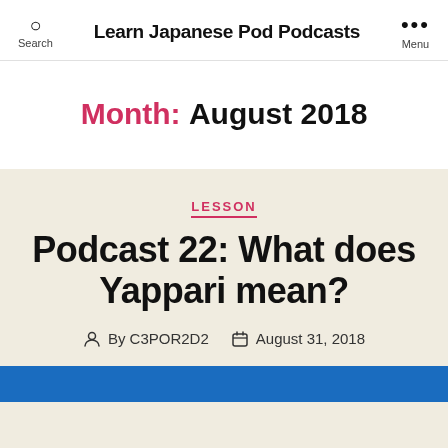Learn Japanese Pod Podcasts
Month: August 2018
LESSON
Podcast 22: What does Yappari mean?
By C3POR2D2   August 31, 2018